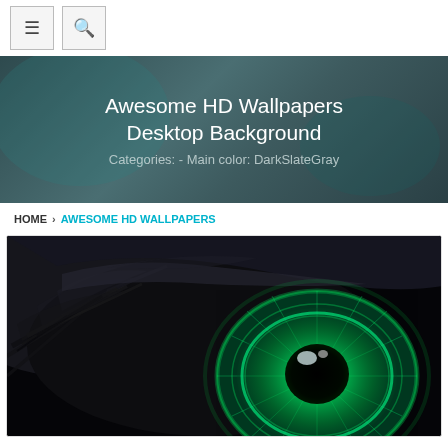Navigation bar with menu and search buttons
Awesome HD Wallpapers Desktop Background
Categories: - Main color: DarkSlateGray
HOME › AWESOME HD WALLPAPERS
[Figure (photo): Close-up photograph of a glowing green eye with dark dramatic lashes against a black background, artistic wallpaper style]